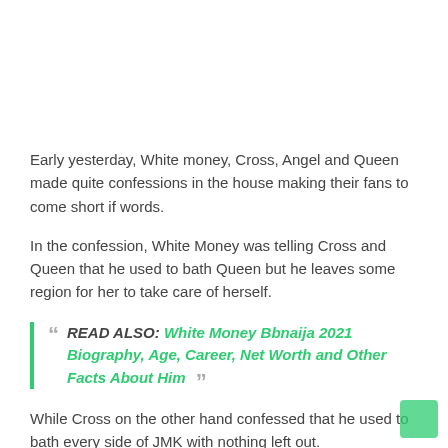Early yesterday, White money, Cross, Angel and Queen made quite confessions in the house making their fans to come short if words.
In the confession, White Money was telling Cross and Queen that he used to bath Queen but he leaves some region for her to take care of herself.
READ ALSO: White Money Bbnaija 2021 Biography, Age, Career, Net Worth and Other Facts About Him
While Cross on the other hand confessed that he used to bath every side of JMK with nothing left out.